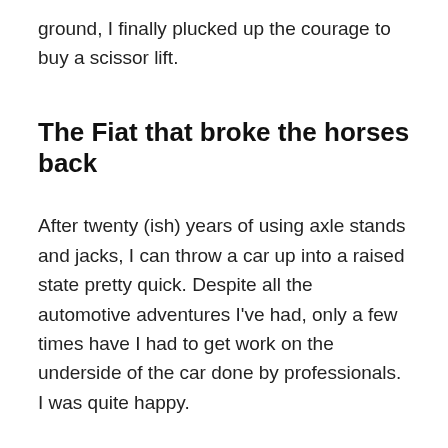ground, I finally plucked up the courage to buy a scissor lift.
The Fiat that broke the horses back
After twenty (ish) years of using axle stands and jacks, I can throw a car up into a raised state pretty quick. Despite all the automotive adventures I've had, only a few times have I had to get work on the underside of the car done by professionals. I was quite happy.
Then I shot myself in the foot and ended up with a Fiat X1/9 to prep for export. One of the photos required for the paperwork was a complete underside picture. Not something I could do from axle stands, despite trying. After many years debating if I really needed one, it was finally time to buy a car lift.